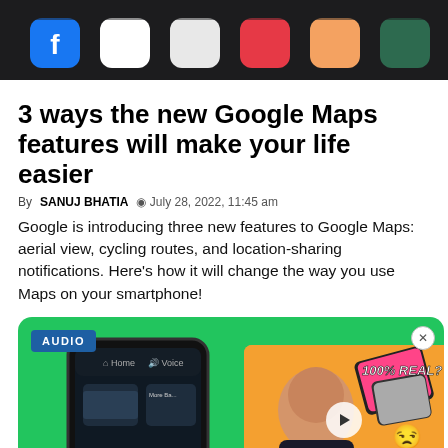[Figure (photo): Close-up of smartphone screen showing app icons including Facebook and other colorful app icons on a dark background]
3 ways the new Google Maps features will make your life easier
By SANUJ BHATIA  ⊙ July 28, 2022, 11:45 am
Google is introducing three new features to Google Maps: aerial view, cycling routes, and location-sharing notifications. Here's how it will change the way you use Maps on your smartphone!
[Figure (screenshot): Green background media player card showing AUDIO badge in top left, a smartphone displaying a podcast app interface, and a video thumbnail overlay on the right showing a man with text '100% REAL?' and 'DAILY.' with emoji, plus a play button]